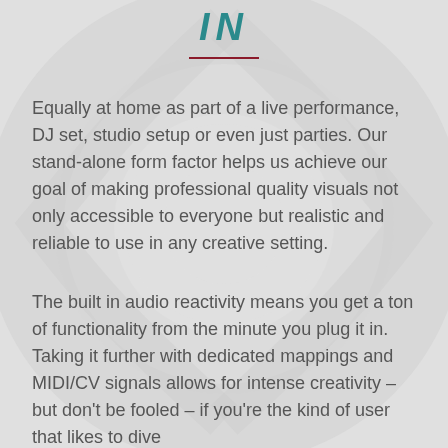IN
Equally at home as part of a live performance, DJ set, studio setup or even just parties. Our stand-alone form factor helps us achieve our goal of making professional quality visuals not only accessible to everyone but realistic and reliable to use in any creative setting.
The built in audio reactivity means you get a ton of functionality from the minute you plug it in. Taking it further with dedicated mappings and MIDI/CV signals allows for intense creativity – but don't be fooled – if you're the kind of user that likes to dive